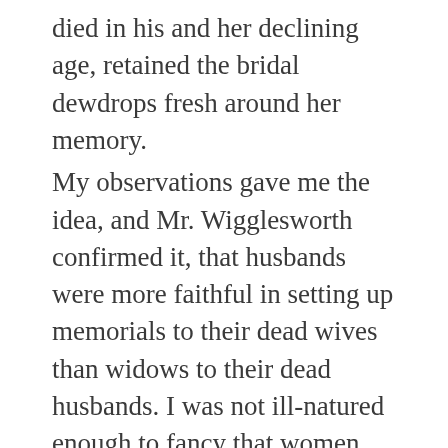died in his and her declining age, retained the bridal dewdrops fresh around her memory. My observations gave me the idea, and Mr. Wigglesworth confirmed it, that husbands were more faithful in setting up memorials to their dead wives than widows to their dead husbands. I was not ill-natured enough to fancy that women, less than men, feel so sure of their own constancy as to be willing to give a pledge of it in marble. It is more probably the fact, that while men are able to reflect upon their lost companions as remembrances apart from themselves, women, on the other hand, are conscious that a portion of their being has gone with